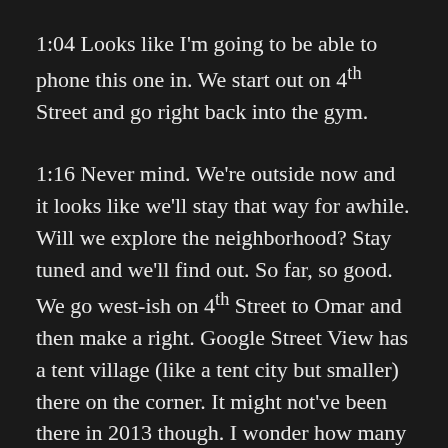1:04 Looks like I'm going to be able to phone this one in. We start out on 4th Street and go right back into the gym.
1:16 Never mind. We're outside now and it looks like we'll stay that way for awhile. Will we explore the neighborhood? Stay tuned and we'll find out. So far, so good. We go west-ish on 4th Street to Omar and then make a right. Google Street View has a tent village (like a tent city but smaller) there on the corner. It might not've been there in 2013 though. I wonder how many of these tents are the same people? They seem to move around. The tents that you can see from 4th in October of 2017 are different from those you can see from Omar in